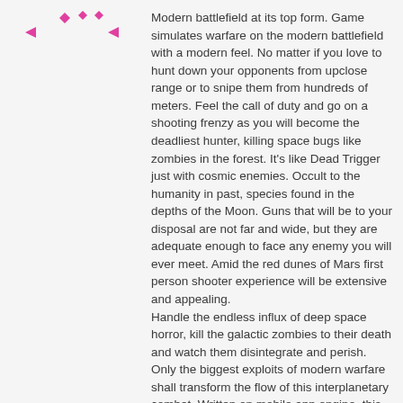[Figure (illustration): Decorative pink/magenta geometric arrow/diamond shapes in top-left corner]
Modern battlefield at its top form. Game simulates warfare on the modern battlefield with a modern feel. No matter if you love to hunt down your opponents from upclose range or to snipe them from hundreds of meters. Feel the call of duty and go on a shooting frenzy as you will become the deadliest hunter, killing space bugs like zombies in the forest. It's like Dead Trigger just with cosmic enemies. Occult to the humanity in past, species found in the depths of the Moon. Guns that will be to your disposal are not far and wide, but they are adequate enough to face any enemy you will ever meet. Amid the red dunes of Mars first person shooter experience will be extensive and appealing.
Handle the endless influx of deep space horror, kill the galactic zombies to their death and watch them disintegrate and perish. Only the biggest exploits of modern warfare shall transform the flow of this interplanetary combat. Written on mobile app engine, this modern combat sim can bring you the impression of actually having the hard shadowgun in your fingers. Numerous dead in space will impact you. Bountiful sniper shooters have fallen before you so this edge of tomorrow shall deliver you mostly fun and dazzling misery anytime. Get it fast and become the top counter shooter, while beating the edge of tomorrow battlefield. But you should know that this isn't Deer Hunter – there is real blood and